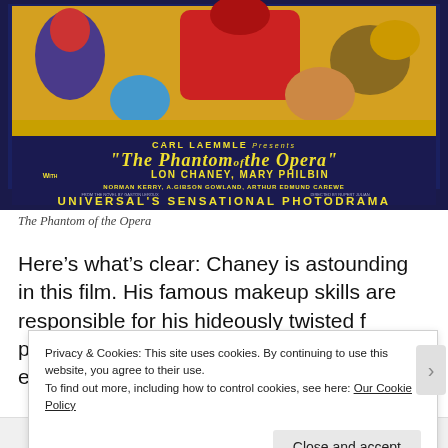[Figure (photo): Vintage movie poster for 'The Phantom of the Opera' presented by Carl Laemmle, featuring colorful illustration of costumed characters, with title text in yellow letters, cast including Lon Chaney, Mary Philbin, Norman Kerry, A. Gibson Gowland, Arthur Edmund Carewe, directed by Rupert Julian. Bottom banner reads UNIVERSAL'S SENSATIONAL PHOTODRAMA.]
The Phantom of the Opera
Here’s what’s clear: Chaney is astounding in this film. His famous makeup skills are responsible for his hideously twisted f p e
Privacy & Cookies: This site uses cookies. By continuing to use this website, you agree to their use.
To find out more, including how to control cookies, see here: Our Cookie Policy
Close and accept